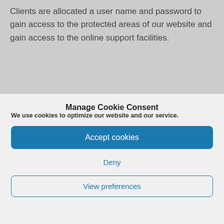Clients are allocated a user name and password to gain access to the protected areas of our website and gain access to the online support facilities.
Manage Cookie Consent
We use cookies to optimize our website and our service.
Accept cookies
Deny
View preferences